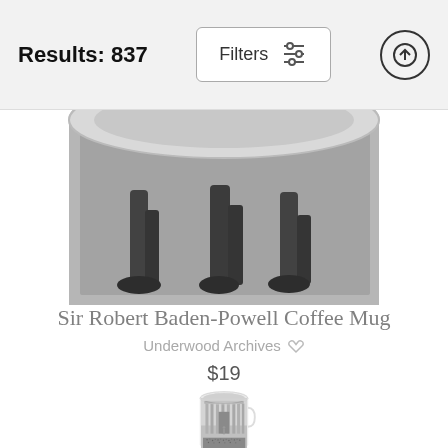Results: 837
Filters
[Figure (photo): Partial view of a white coffee mug showing the bottom portion with a black and white photograph of people's legs and feet, visible from above]
Sir Robert Baden-Powell Coffee Mug
Underwood Archives ♡
$19
[Figure (photo): White coffee mug with a black and white photograph printed on it showing a neoclassical building with tall columns, a statue of a figure in the center, and a crowd of people at the base]